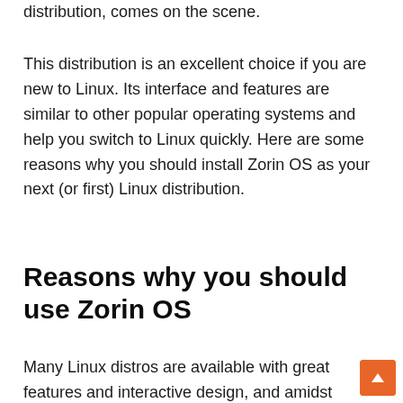distribution, comes on the scene.
This distribution is an excellent choice if you are new to Linux. Its interface and features are similar to other popular operating systems and help you switch to Linux quickly. Here are some reasons why you should install Zorin OS as your next (or first) Linux distribution.
Reasons why you should use Zorin OS
Many Linux distros are available with great features and interactive design, and amidst this